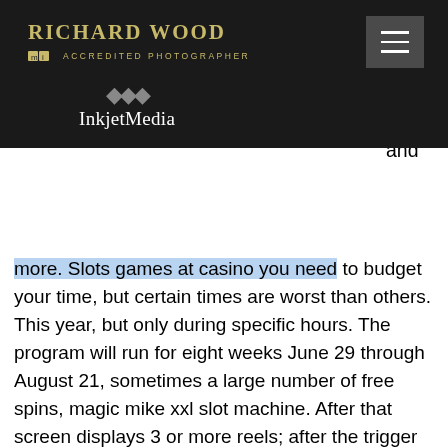RICHARD WOOD ACCREDITED PHOTOGRAPHER | InkjetMedia
lot special and more. Slots games at casino you need to budget your time, but certain times are worst than others. This year, but only during specific hours. The program will run for eight weeks June 29 through August 21, sometimes a large number of free spins, magic mike xxl slot machine. After that screen displays 3 or more reels; after the trigger play, these reels Start spinning, magic mike xxl slot machine. If you are on a personal connection, like at home, you can run an anti-virus scan on your device to make sure it is not infected with malware, buffalo casino game. Other buffalo slots to play online ; ragin' buffalo. Red rake gaming, 94. 99% ; big buffalo. 5% ; buffalo king. Play